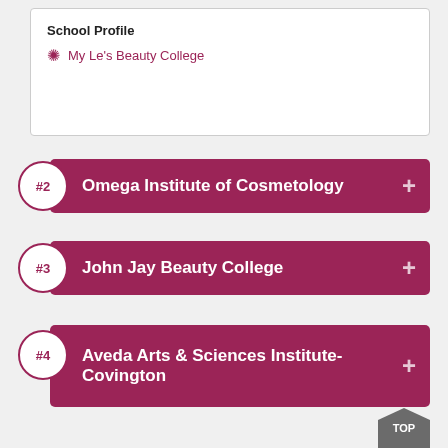School Profile
My Le's Beauty College
#2 Omega Institute of Cosmetology
#3 John Jay Beauty College
#4 Aveda Arts & Sciences Institute-Covington
#5 LaSalle Tech
#6 (partial)